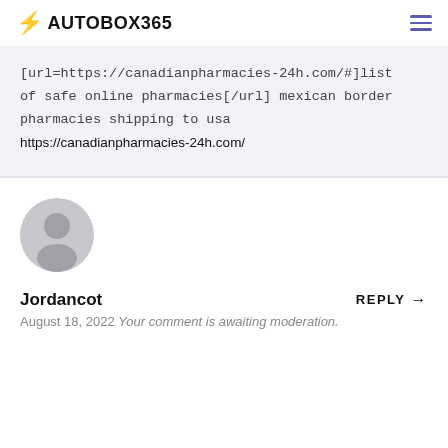AUTOBOX365
[url=https://canadianpharmacies-24h.com/#]list of safe online pharmacies[/url] mexican border pharmacies shipping to usa https://canadianpharmacies-24h.com/
[Figure (illustration): Generic user avatar — grey circle with silhouette of a person]
Jordancot
August 18, 2022 Your comment is awaiting moderation.